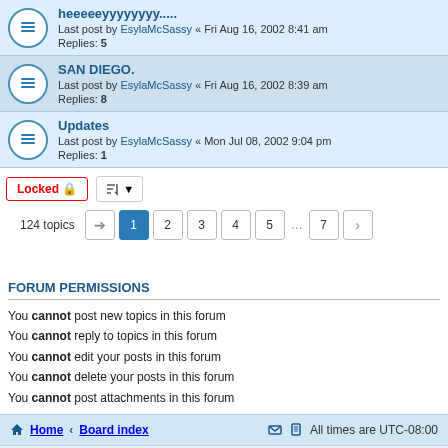heeeeeyyyyyyyy.....
Last post by EsylaMcSassy « Fri Aug 16, 2002 8:41 am
Replies: 5
SAN DIEGO.
Last post by EsylaMcSassy « Fri Aug 16, 2002 8:39 am
Replies: 8
Updates
Last post by EsylaMcSassy « Mon Jul 08, 2002 9:04 pm
Replies: 1
Locked  124 topics  1 2 3 4 5 ... 7
FORUM PERMISSIONS
You cannot post new topics in this forum
You cannot reply to topics in this forum
You cannot edit your posts in this forum
You cannot delete your posts in this forum
You cannot post attachments in this forum
Home · Board index   All times are UTC-08:00
Powered by phpBB® Forum Software © phpBB Limited
Privacy | Terms